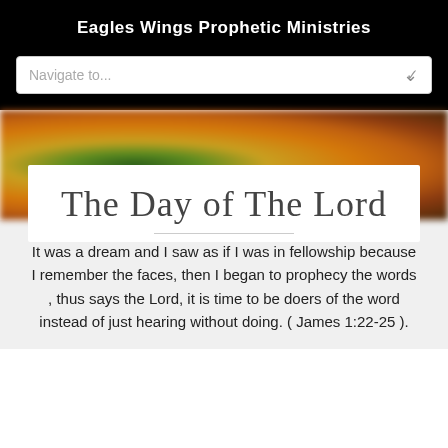Eagles Wings Prophetic Ministries
The Day of The Lord
It was a dream and I saw as if I was in fellowship because I remember the faces, then I began to prophecy the words , thus says the Lord, it is time to be doers of the word instead of just hearing without doing. ( James 1:22-25 ).